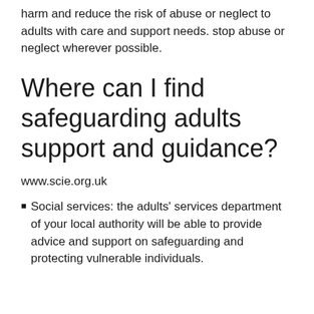harm and reduce the risk of abuse or neglect to adults with care and support needs. stop abuse or neglect wherever possible.
Where can I find safeguarding adults support and guidance?
www.scie.org.uk
Social services: the adults' services department of your local authority will be able to provide advice and support on safeguarding and protecting vulnerable individuals.